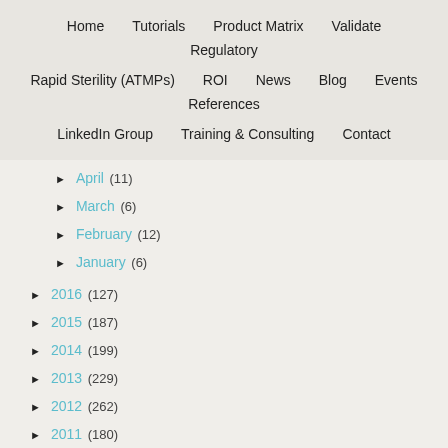Home   Tutorials   Product Matrix   Validate   Regulatory   Rapid Sterility (ATMPs)   ROI   News   Blog   Events   References   LinkedIn Group   Training & Consulting   Contact
► April (11)
► March (6)
► February (12)
► January (6)
► 2016 (127)
► 2015 (187)
► 2014 (199)
► 2013 (229)
► 2012 (262)
► 2011 (180)